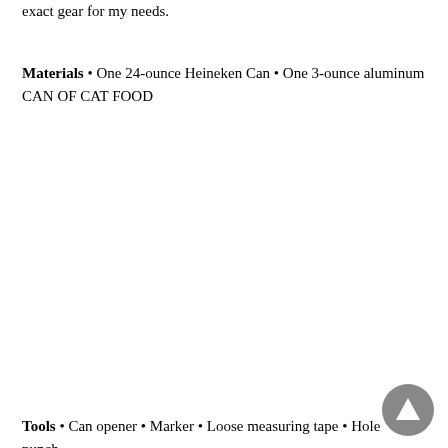exact gear for my needs.
Materials • One 24-ounce Heineken Can • One 3-ounce aluminum CAN OF CAT FOOD
Tools • Can opener • Marker • Loose measuring tape • Hole punch